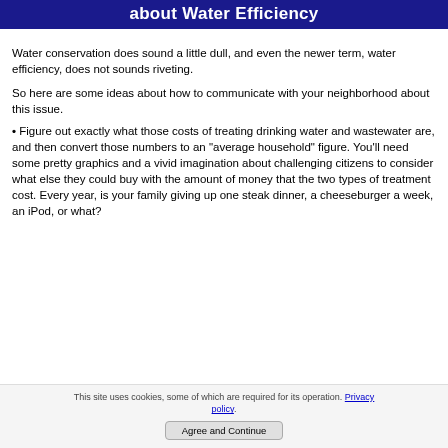about Water Efficiency
Water conservation does sound a little dull, and even the newer term, water efficiency, does not sounds riveting.
So here are some ideas about how to communicate with your neighborhood about this issue.
Figure out exactly what those costs of treating drinking water and wastewater are, and then convert those numbers to an "average household" figure. You'll need some pretty graphics and a vivid imagination about challenging citizens to consider what else they could buy with the amount of money that the two types of treatment cost. Every year, is your family giving up one steak dinner, a cheeseburger a week, an iPod, or what?
This site uses cookies, some of which are required for its operation. Privacy policy. Agree and Continue